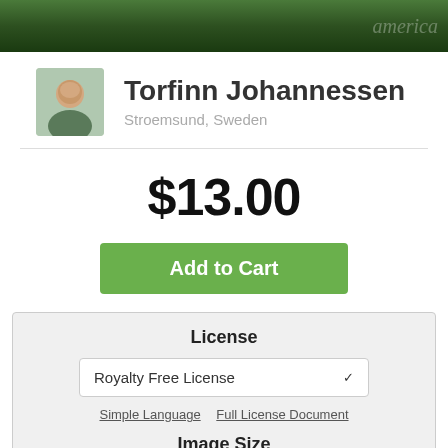[Figure (photo): Forest/nature banner image with trees and foliage, partially obscured watermark text 'america' on the right side]
Torfinn Johannessen
Stroemsund, Sweden
$13.00
Add to Cart
License
Royalty Free License
Simple Language   Full License Document
Image Size
500 x 333 px   $13.00